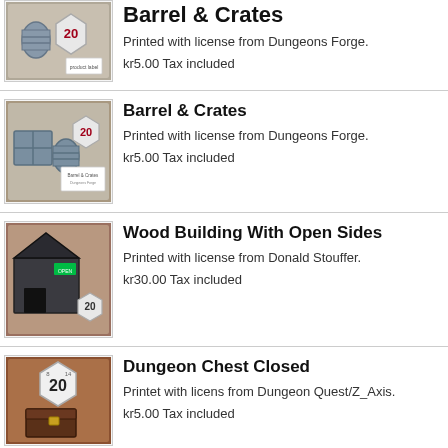[Figure (photo): 3D printed dice and small barrel/crate miniatures on a brown background with a product label card]
Printed with license from Dungeons Forge.
kr5.00 Tax included
Barrel & Crates
[Figure (photo): 3D printed barrel and crates miniatures with dice on a brown background]
Printed with license from Dungeons Forge.
kr5.00 Tax included
Wood Building With Open Sides
[Figure (photo): 3D printed dark wood building with open sides on a brown background with dice]
Printed with license from Donald Stouffer.
kr30.00 Tax included
Dungeon Chest Closed
[Figure (photo): 3D printed dungeon chest with a d20 die on top on a brown background]
Printet with licens from Dungeon Quest/Z_Axis.
kr5.00 Tax included